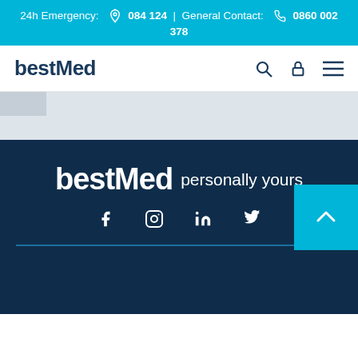24h Emergency: 🔔 084 124 | General Contact: 📞 0860 002 378
[Figure (logo): bestMed logo in navigation bar with search, lock and hamburger menu icons]
[Figure (logo): bestMed logo in footer with tagline 'personally yours', social media icons (Facebook, Instagram, LinkedIn, Twitter), scroll-to-top button, and horizontal divider line]